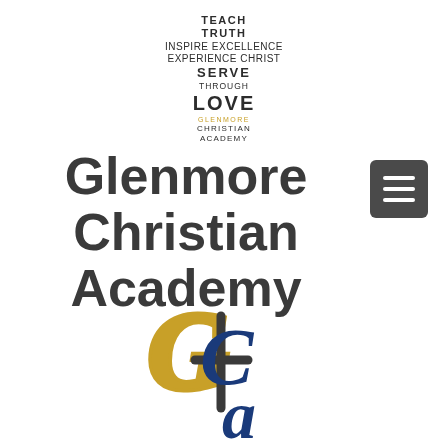[Figure (logo): Glenmore Christian Academy stacked wordmark with phrases: TEACH TRUTH INSPIRE EXCELLENCE EXPERIENCE CHRIST SERVE THROUGH LOVE, followed by GLENMORE CHRISTIAN ACADEMY in small text]
Glenmore Christian Academy
[Figure (logo): GCA interlocking monogram logo with G in gold and C and A in navy blue]